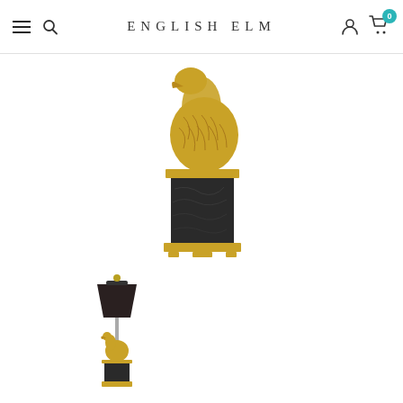ENGLISH ELM
[Figure (photo): Close-up of a gold-finished swan figurine lamp base on a black marble pedestal with gold trim, white background]
[Figure (photo): Small thumbnail of a full swan table lamp with black shade and gold swan base on black pedestal]